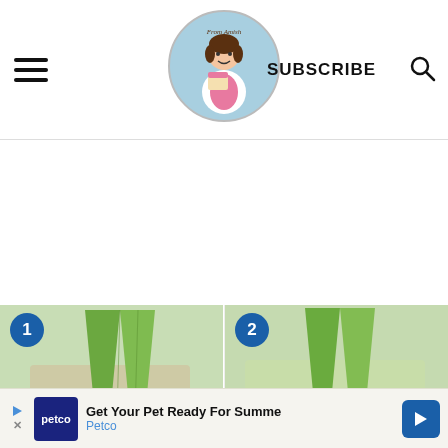Navigation header with hamburger menu, logo (From Amish), SUBSCRIBE link, and search icon
[Figure (photo): Step 1: Piping bag with green tip on green surface, numbered badge '1']
[Figure (photo): Step 2: Piping bag with metal tip on green surface, numbered badge '2']
Get Your Pet Ready For Summe
Petco